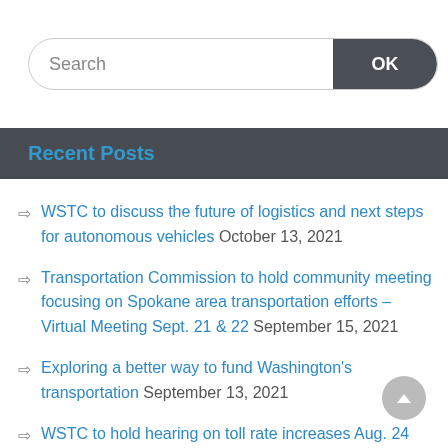[Figure (screenshot): Search bar with text input area and dark OK button on the right]
Recent Posts
WSTC to discuss the future of logistics and next steps for autonomous vehicles October 13, 2021
Transportation Commission to hold community meeting focusing on Spokane area transportation efforts – Virtual Meeting Sept. 21 & 22 September 15, 2021
Exploring a better way to fund Washington's transportation September 13, 2021
WSTC to hold hearing on toll rate increases Aug. 24